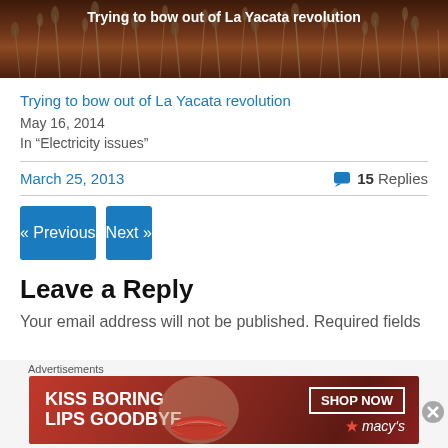[Figure (photo): Article thumbnail image with dark brown/reddish background with grass/wheat imagery and white text overlay reading 'Trying to bow out of La Yacata revolution']
Trying to bow out of La Yacata revolution
May 16, 2014
In "Electricity issues"
March 25, 2013
15 Replies
« Previous
Next »
Leave a Reply
Your email address will not be published. Required fields
[Figure (photo): Macy's advertisement banner with red background, woman's lips, text 'KISS BORING LIPS GOODBYE', 'SHOP NOW' button and Macy's star logo]